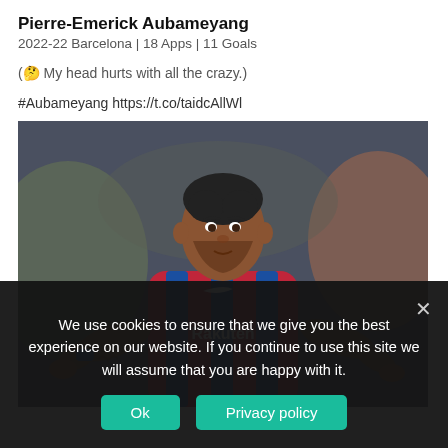Pierre-Emerick Aubameyang
2022-22 Barcelona | 18 Apps | 11 Goals
(🤔 My head hurts with all the crazy.)
#Aubameyang https://t.co/taidcAllWl
[Figure (photo): Pierre-Emerick Aubameyang in Barcelona red and blue striped kit with Rakuten sponsor, arms outstretched, looking sideways]
We use cookies to ensure that we give you the best experience on our website. If you continue to use this site we will assume that you are happy with it.
Ok  Privacy policy